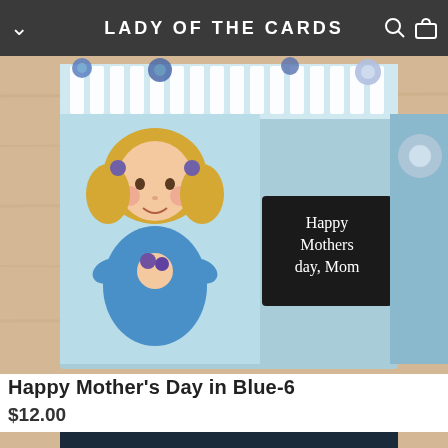LADY OF THE CARDS
[Figure (photo): A handmade Mother's Day card in blue tones featuring a cartoon girl with blonde hair holding flowers, wearing a blue dress, against a light blue background with a white picket fence and blue flowers along the top. A black panel reads 'Happy Mothers day, Mom' in white text.]
Happy Mother's Day in Blue-6
$12.00
[Figure (photo): A close-up of an intricate paper craft or card design featuring layered blue, white, and dark teal/black flower shapes and leaf cutouts arranged decoratively.]